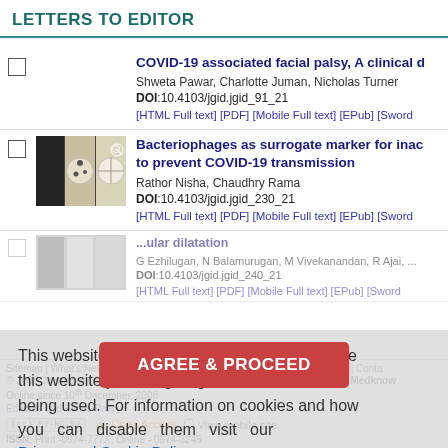LETTERS TO EDITOR
COVID-19 associated facial palsy, A clinical d
Shweta Pawar, Charlotte Juman, Nicholas Turner
DOI:10.4103/jgid.jgid_91_21
[HTML Full text] [PDF] [Mobile Full text] [EPub] [Sword...
[Figure (photo): Bacteriophage plaque assay images on petri dishes]
Bacteriophages as surrogate marker for inac... to prevent COVID-19 transmission
Rathor Nisha, Chaudhry Rama
DOI:10.4103/jgid.jgid_230_21
[HTML Full text] [PDF] [Mobile Full text] [EPub] [Sword...
...ular dilatation
G Ezhilugan, N Balamurugan, M Vivekanandan, R Ajai, ...
DOI:10.4103/jgid.jgid_240_21
[HTML Full text] [PDF] [Mobile Full text] [EPub] [Sword...
This website uses cookies. By continuing to use this website you are giving consent to cookies being used. For information on cookies and how you can disable them visit our Privacy and Cookie Policy.
Sitemap | What's New | Feedback | Copyright and Disclaimer | Privacy Notice | Conta...
© 2008 Journal of Global Infectious Diseases | Published by Wolters Kluwer - Medknow
Online since 10th December, 2008
Editorial and Ethics Policy
(cc) BY-NC-SA  Open Access  View mobile site
ISSN: Print -0974-777X, Online - 0974-8245